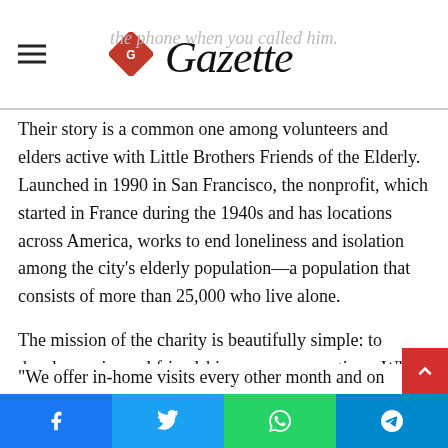Gazette
Their story is a common one among volunteers and elders active with Little Brothers Friends of the Elderly. Launched in 1990 in San Francisco, the nonprofit, which started in France during the 1940s and has locations across America, works to end loneliness and isolation among the city's elderly population—a population that consists of more than 25,000 who live alone.
The mission of the charity is beautifully simple: to develop reciprocal friendships across generations. When a one-on-one match is made, the program asks volunteers to visit a specific elder at least twice per month.
"We offer in-home visits every other month and on birthdays